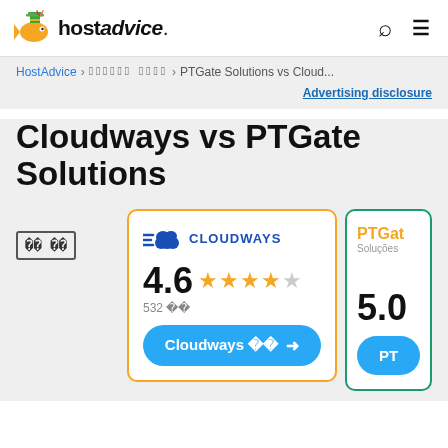hostadvice. [logo] [search icon] [menu icon]
HostAdvice > 웹 호스팅 비교 리뷰 > PTGate Solutions vs Cloud...
Advertising disclosure
Cloudways vs PTGate Solutions
전체 비교 CLOUDWAYS 4.6 ★★★★☆ 532 리뷰 [Cloudways 방문 →] PTGate Soluções 5.0 [PT →]